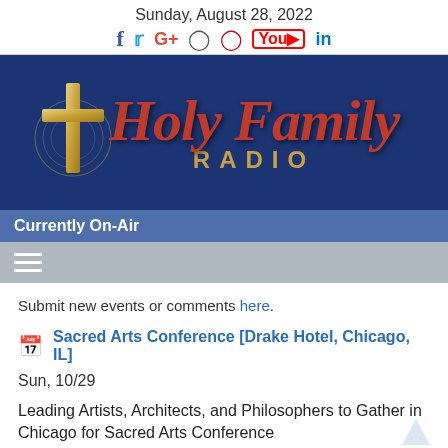Sunday, August 28, 2022
[Figure (logo): Holy Family Radio logo on dark blue background with gold cross and circular design]
Currently On-Air
Submit new events or comments here.
Sacred Arts Conference [Drake Hotel, Chicago, IL]
Sun, 10/29
Leading Artists, Architects, and Philosophers to Gather in Chicago for Sacred Arts Conference